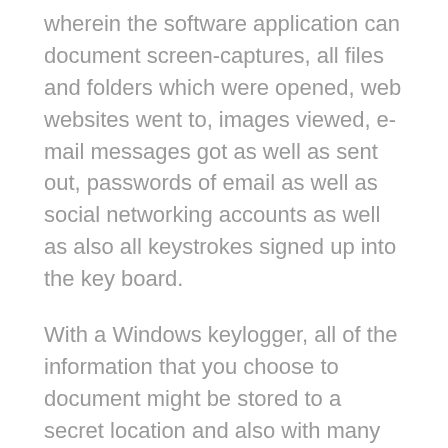wherein the software application can document screen-captures, all files and folders which were opened, web websites went to, images viewed, e-mail messages got as well as sent out, passwords of email as well as social networking accounts as well as also all keystrokes signed up into the key board.
With a Windows keylogger, all of the information that you choose to document might be stored to a secret location and also with many keyloggers you can even have all recorded logs emailed to you. This serves if you desire to see the recorded data remotely at your very own recreation, or undoubtedly if you do not have routine accessibility to the computer that you've chosen to monitor. The Windows keylogger software will certainly continue to be unseen by the computer customer since it will not be viewed as a desktop symbol or perhaps within the running job